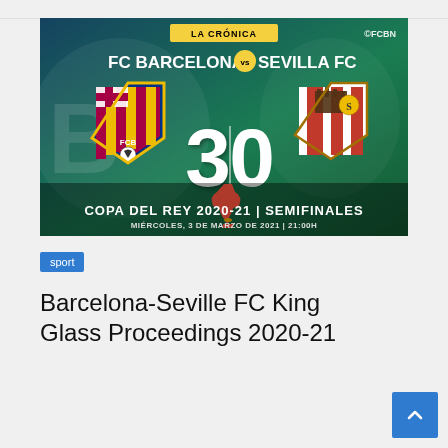[Figure (photo): FC Barcelona vs Sevilla FC Copa del Rey 2020-21 Semifinales match graphic showing score 3-0, with both club crests, labeled LA CRÓNICA and FCBN watermark, date: Miércoles, 3 de Marzo de 2021 | 21:00H]
sport
Barcelona-Seville FC King Glass Proceedings 2020-21